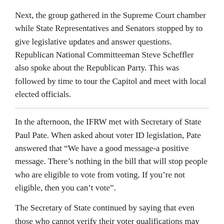Next, the group gathered in the Supreme Court chamber while State Representatives and Senators stopped by to give legislative updates and answer questions. Republican National Committeeman Steve Scheffler also spoke about the Republican Party. This was followed by time to tour the Capitol and meet with local elected officials.
In the afternoon, the IFRW met with Secretary of State Paul Pate. When asked about voter ID legislation, Pate answered that “We have a good message-a positive message. There’s nothing in the bill that will stop people who are eligible to vote from voting. If you’re not eligible, then you can’t vote”.
The Secretary of State continued by saying that even those who cannot verify their voter qualifications may still vote provisionally, as long as their eligibility can be verified later.
“The ACLU is using this as a fundraising tool. They are playing to their base of supporters, and every time that they send out an appeal against this legislation, they are asking for money. We do not have Conservative judges right now, and our courts are often unconstitutional. The ACLU